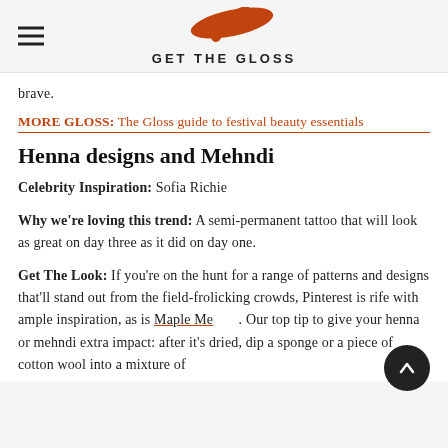GET THE GLOSS
brave.
MORE GLOSS: The Gloss guide to festival beauty essentials
Henna designs and Mehndi
Celebrity Inspiration: Sofia Richie
Why we're loving this trend: A semi-permanent tattoo that will look as great on day three as it did on day one.
Get The Look: If you're on the hunt for a range of patterns and designs that'll stand out from the field-frolicking crowds, Pinterest is rife with ample inspiration, as is Maple Me[hndi]. Our top tip to give your henna or mehndi extra impact: after it's dried, dip a sponge or a piece of cotton wool into a mixture of